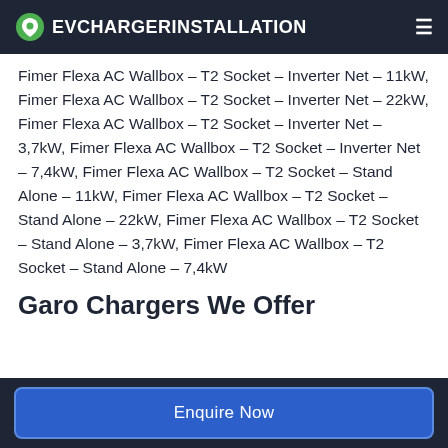EVCHARGERINSTALLATION
Fimer Flexa AC Wallbox – T2 Socket – Inverter Net – 11kW, Fimer Flexa AC Wallbox – T2 Socket – Inverter Net – 22kW, Fimer Flexa AC Wallbox – T2 Socket – Inverter Net – 3,7kW, Fimer Flexa AC Wallbox – T2 Socket – Inverter Net – 7,4kW, Fimer Flexa AC Wallbox – T2 Socket – Stand Alone – 11kW, Fimer Flexa AC Wallbox – T2 Socket – Stand Alone – 22kW, Fimer Flexa AC Wallbox – T2 Socket – Stand Alone – 3,7kW, Fimer Flexa AC Wallbox – T2 Socket – Stand Alone – 7,4kW
Garo Chargers We Offer
Enquire Now